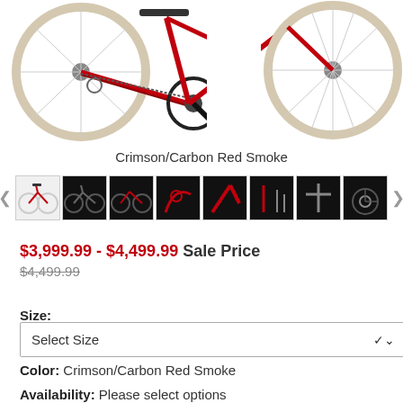[Figure (photo): Partial view of a red road bicycle — drivetrain and rear wheel visible, two cropped views side by side]
Crimson/Carbon Red Smoke
[Figure (photo): Row of 8 thumbnail images of the bicycle in various angles, with left and right navigation arrows]
$3,999.99 - $4,499.99 Sale Price
$4,499.99
Size:
Select Size
Color:  Crimson/Carbon Red Smoke
Availability: Please select options